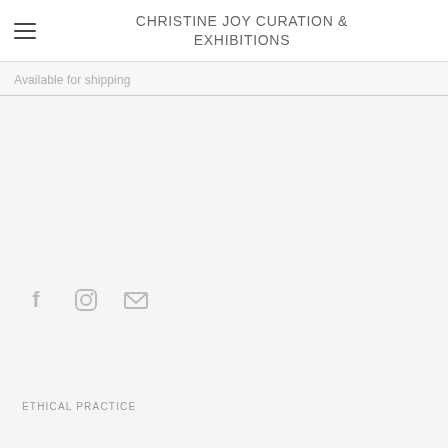CHRISTINE JOY CURATION & EXHIBITIONS
Available for shipping
[Figure (illustration): Social media icons: Facebook, Instagram, Email]
ETHICAL PRACTICE
[Figure (photo): Partial circular dark image at bottom, likely a portrait photo cropped to circle]